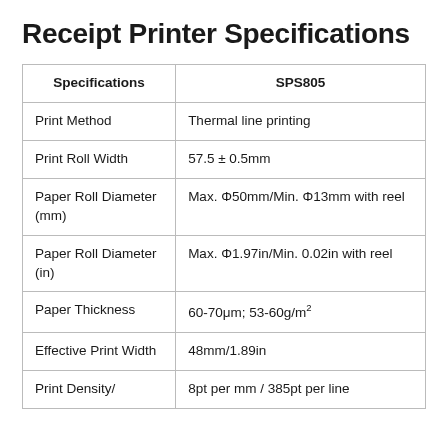Receipt Printer Specifications
| Specifications | SPS805 |
| --- | --- |
| Print Method | Thermal line printing |
| Print Roll Width | 57.5 ± 0.5mm |
| Paper Roll Diameter (mm) | Max. Φ50mm/Min. Φ13mm with reel |
| Paper Roll Diameter (in) | Max. Φ1.97in/Min. 0.02in with reel |
| Paper Thickness | 60-70μm; 53-60g/m² |
| Effective Print Width | 48mm/1.89in |
| Print Density/ | 8pt per mm / 385pt per line |